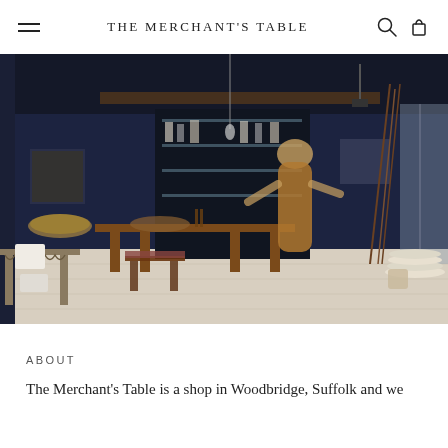THE MERCHANT'S TABLE
[Figure (photo): Interior of The Merchant's Table shop showing a woman in a brown dress browsing shelves stocked with goods. The room has dark navy blue walls and ceiling, wooden tables with various items, baskets, ceramics, and eclectic wares. Industrial-style lighting and a wooden beam ceiling. White painted floorboards.]
ABOUT
The Merchant's Table is a shop in Woodbridge, Suffolk and we